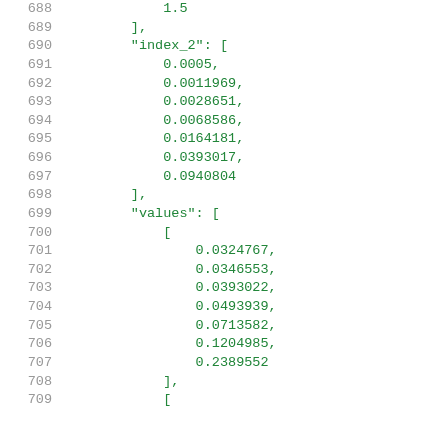688    1.5
689    ],
690    "index_2": [
691        0.0005,
692        0.0011969,
693        0.0028651,
694        0.0068586,
695        0.0164181,
696        0.0393017,
697        0.0940804
698    ],
699    "values": [
700        [
701            0.0324767,
702            0.0346553,
703            0.0393022,
704            0.0493939,
705            0.0713582,
706            0.1204985,
707            0.2389552
708        ],
709        [